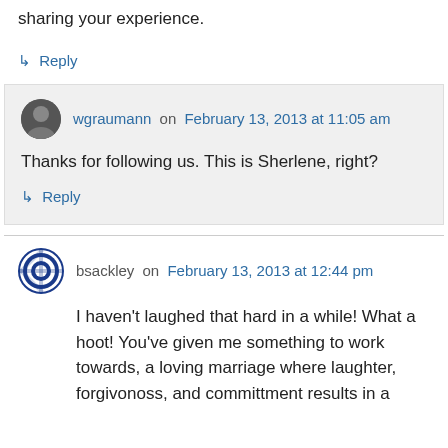sharing your experience.
↳ Reply
wgraumann on February 13, 2013 at 11:05 am
Thanks for following us. This is Sherlene, right?
↳ Reply
bsackley on February 13, 2013 at 12:44 pm
I haven't laughed that hard in a while! What a hoot! You've given me something to work towards, a loving marriage where laughter, forgivonoss, and committment results in a